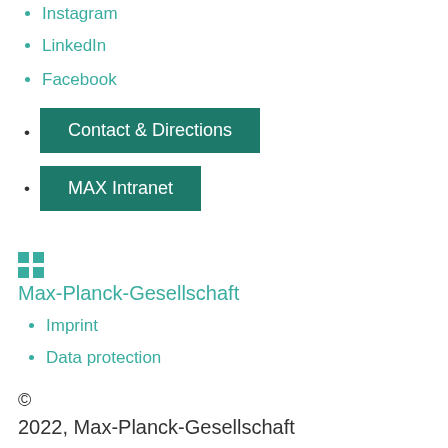Instagram
LinkedIn
Facebook
Contact & Directions
MAX Intranet
[Figure (logo): Grid/apps icon representing Max-Planck-Gesellschaft logo]
Max-Planck-Gesellschaft
Imprint
Data protection
©
2022, Max-Planck-Gesellschaft